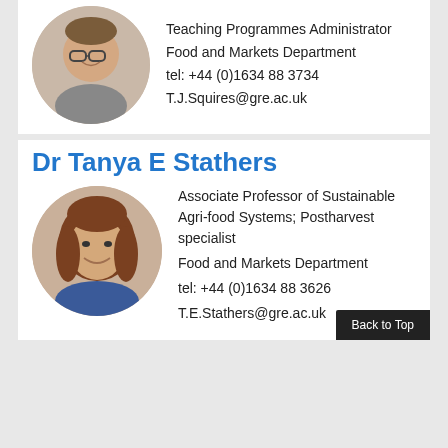[Figure (photo): Circular profile photo of Tracey Squires, a woman with glasses smiling]
Teaching Programmes Administrator
Food and Markets Department
tel: +44 (0)1634 88 3734
T.J.Squires@gre.ac.uk
Dr Tanya E Stathers
[Figure (photo): Circular profile photo of Dr Tanya E Stathers, a woman with brown hair smiling]
Associate Professor of Sustainable Agri-food Systems; Postharvest specialist
Food and Markets Department
tel: +44 (0)1634 88 3626
T.E.Stathers@gre.ac.uk